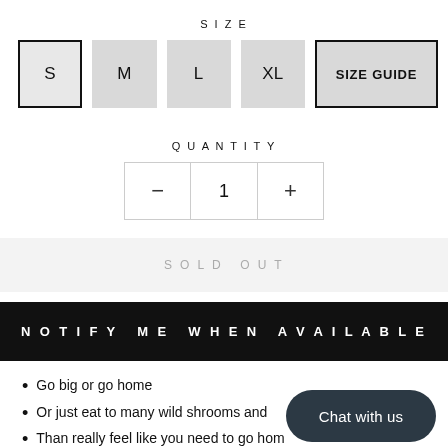SIZE
S  M  L  XL  SIZE GUIDE
QUANTITY
- 1 +
SOLD OUT
NOTIFY ME WHEN AVAILABLE
Go big or go home
Or just eat to many wild shrooms and
Than really feel like you need to go home
Just dont forget the buddy system
Chat with us